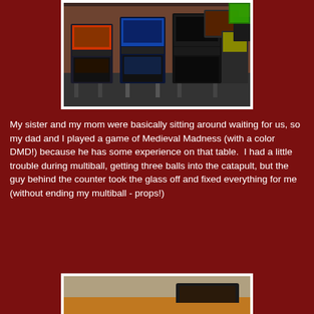[Figure (photo): Several pinball machines lined up in an arcade/bar setting with brick walls. Multiple machines visible including Medieval Madness and others.]
My sister and my mom were basically sitting around waiting for us, so my dad and I played a game of Medieval Madness (with a color DMD!) because he has some experience on that table.  I had a little trouble during multiball, getting three balls into the catapult, but the guy behind the counter took the glass off and fixed everything for me (without ending my multiball - props!)
[Figure (photo): Partial view of another arcade or pinball machine area, showing what appears to be a Jurassic Park themed machine or signage.]